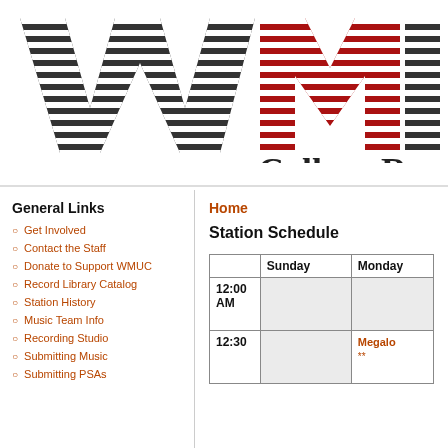[Figure (logo): WMUC radio station logo with striped W M U C letters in dark gray and red, followed by 'College R' text in bold serif]
General Links
Get Involved
Contact the Staff
Donate to Support WMUC
Record Library Catalog
Station History
Music Team Info
Recording Studio
Submitting Music
Submitting PSAs
Home
Station Schedule
|  | Sunday | Monday |
| --- | --- | --- |
| 12:00 AM |  |  |
| 12:30 |  | Megalo... ** |